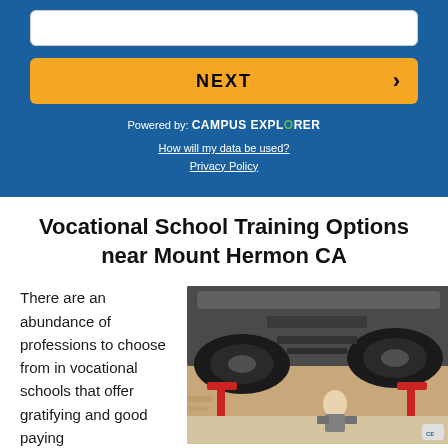[Figure (screenshot): Blue panel with a white input box, a yellow NEXT button with arrow, 'Powered by: CAMPUS EXPLORER' text, and links for 'How will my data be used?' and 'Privacy Policy']
Vocational School Training Options near Mount Hermon CA
There are an abundance of professions to choose from in vocational schools that offer gratifying and good paying
[Figure (photo): Photo of a car lifted on a red hydraulic lift in an auto shop, viewed from below, with a mechanic working underneath]